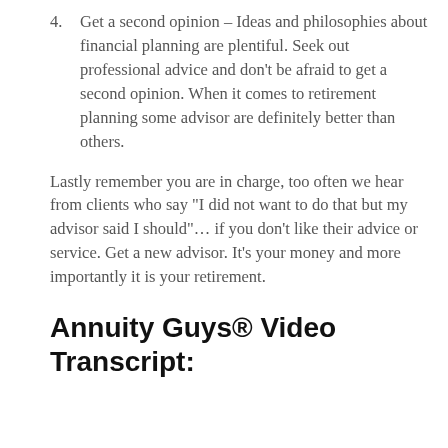4. Get a second opinion – Ideas and philosophies about financial planning are plentiful. Seek out professional advice and don't be afraid to get a second opinion. When it comes to retirement planning some advisor are definitely better than others.
Lastly remember you are in charge, too often we hear from clients who say "I did not want to do that but my advisor said I should"… if you don't like their advice or service. Get a new advisor. It's your money and more importantly it is your retirement.
Annuity Guys® Video Transcript: